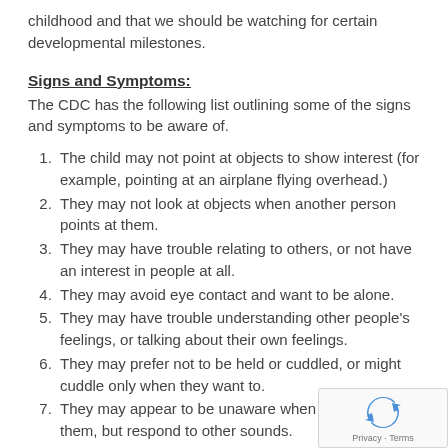childhood and that we should be watching for certain developmental milestones.
Signs and Symptoms:
The CDC has the following list outlining some of the signs and symptoms to be aware of.
The child may not point at objects to show interest (for example, pointing at an airplane flying overhead.)
They may not look at objects when another person points at them.
They may have trouble relating to others, or not have an interest in people at all.
They may avoid eye contact and want to be alone.
They may have trouble understanding other people's feelings, or talking about their own feelings.
They may prefer not to be held or cuddled, or might cuddle only when they want to.
They may appear to be unaware when people talk to them, but respond to other sounds.
They may be very interested in people, but not know how to talk, play or relate to them.
They may repeat or echo words or phrases said to